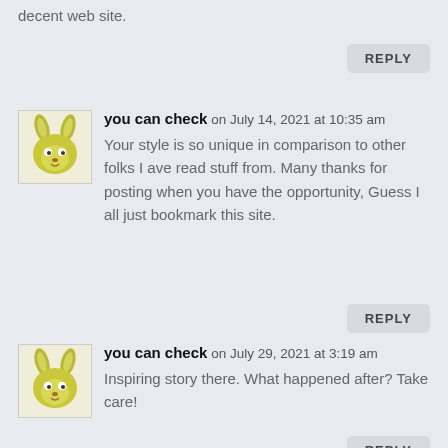decent web site.
REPLY
you can check on July 14, 2021 at 10:35 am
Your style is so unique in comparison to other folks I ave read stuff from. Many thanks for posting when you have the opportunity, Guess I all just bookmark this site.
REPLY
you can check on July 29, 2021 at 3:19 am
Inspiring story there. What happened after? Take care!
REPLY